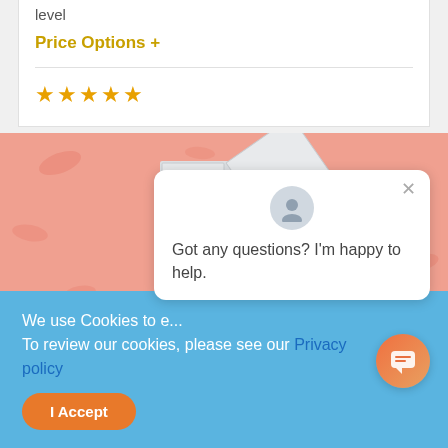level
Price Options +
[Figure (illustration): Star rating widget showing 5 empty/outline gold stars]
[Figure (photo): A white metal medicine/storage cabinet with two doors open, shelves holding medication boxes and bottles, on a peach/salmon colored background with pill shapes]
[Figure (screenshot): Chat popup bubble with avatar icon showing message: Got any questions? I'm happy to help.]
We use Cookies to e... To review our cookies, please see our Privacy policy
I Accept